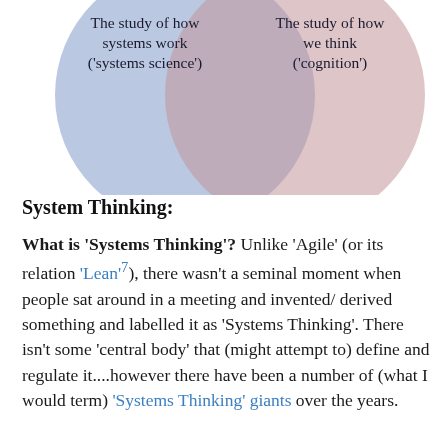[Figure (other): Venn diagram showing two overlapping circles: left circle (blue) labeled 'The study of how systems work (systems science')' and right circle (pink/mauve) labeled 'The study of how we think (cognition')'. The overlapping region is a darker blended purple.]
System Thinking:
What is 'Systems Thinking'? Unlike 'Agile' (or its relation 'Lean'7), there wasn't a seminal moment when people sat around in a meeting and invented/ derived something and labelled it as 'Systems Thinking'. There isn't some 'central body' that (might attempt to) define and regulate it....however there have been a number of (what I would term) 'Systems Thinking' giants over the years.